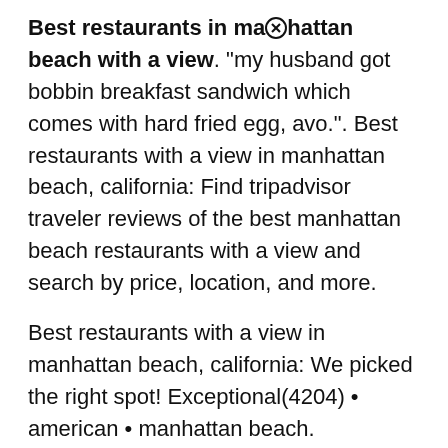Best restaurants in manhattan beach with a view. "my husband got bobbin breakfast sandwich which comes with hard fried egg, avo.". Best restaurants with a view in manhattan beach, california: Find tripadvisor traveler reviews of the best manhattan beach restaurants with a view and search by price, location, and more.
Best restaurants with a view in manhattan beach, california: We picked the right spot! Exceptional(4204) • american • manhattan beach.
117 manhattan beach boulevard manhattan beach, ca 90266. Menus, photos, ratings and reviews for best restaurants in manhattan beach. 260 portofino way redondo beach, ca.